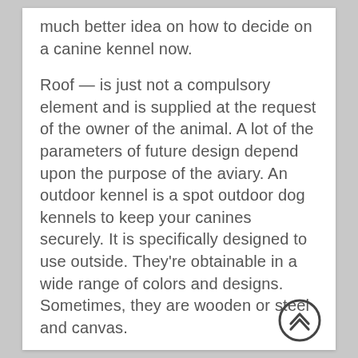much better idea on how to decide on a canine kennel now.
Roof — is just not a compulsory element and is supplied at the request of the owner of the animal. A lot of the parameters of future design depend upon the purpose of the aviary. An outdoor kennel is a spot outdoor dog kennels to keep your canines securely. It is specifically designed to use outside. They're obtainable in a wide range of colors and designs. Sometimes, they are wooden or steel and canvas.
The other choice that you have is to choose whether or not you need a cover to your canine kennel. Some choose